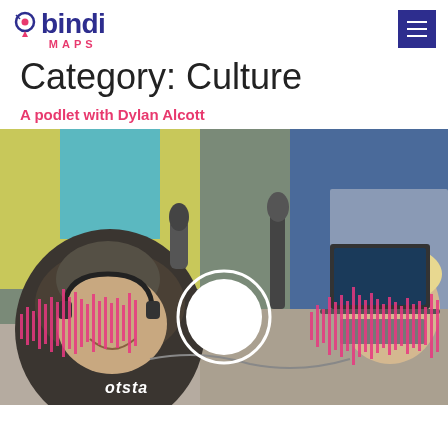bindi MAPS
Category: Culture
A podlet with Dylan Alcott
[Figure (photo): Photo of two people in a podcast studio setting. A man with a beanie and headphones smiling at the camera on the left, and a woman on the right. Microphones and recording equipment are visible. Sound waveform graphic overlay with a circular play button in the center. A yellow and blue background image is partially visible top left.]